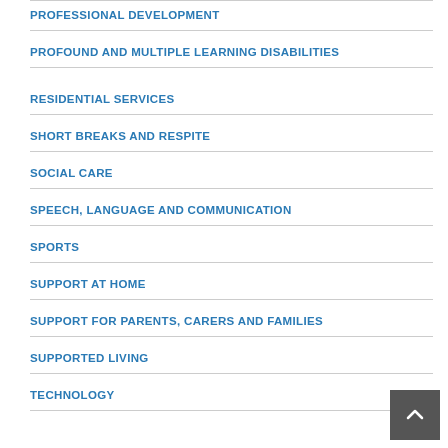PROFESSIONAL DEVELOPMENT
PROFOUND AND MULTIPLE LEARNING DISABILITIES
RESIDENTIAL SERVICES
SHORT BREAKS AND RESPITE
SOCIAL CARE
SPEECH, LANGUAGE AND COMMUNICATION
SPORTS
SUPPORT AT HOME
SUPPORT FOR PARENTS, CARERS AND FAMILIES
SUPPORTED LIVING
TECHNOLOGY